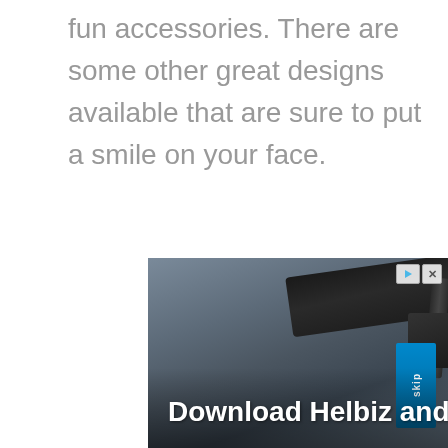fun accessories. There are some other great designs available that are sure to put a smile on your face.
[Figure (photo): Advertisement banner showing an electric scooter handlebar against an urban background with the text 'Download Helbiz and ride' in white bold font. Top-right corner shows ad controls (play/skip and close buttons).]